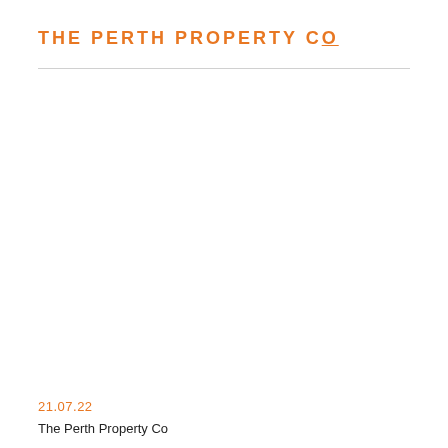THE PERTH PROPERTY Co
21.07.22
The Perth Property Co